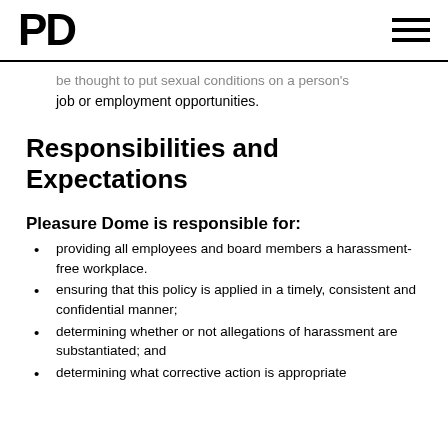PD
be thought to put sexual conditions on a person's job or employment opportunities.
Responsibilities and Expectations
Pleasure Dome is responsible for:
providing all employees and board members a harassment-free workplace.
ensuring that this policy is applied in a timely, consistent and confidential manner;
determining whether or not allegations of harassment are substantiated; and
determining what corrective action is appropriate